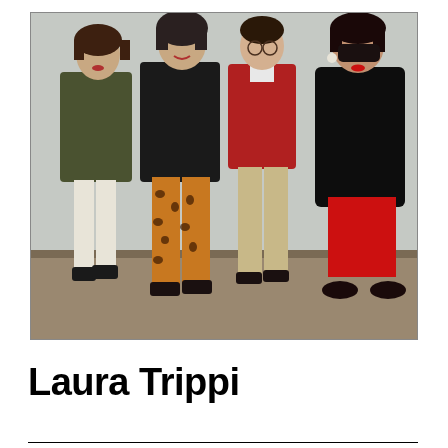[Figure (photo): A color photograph of four people standing together in front of a light gray/white wall on a wooden floor. From left: a woman in a dark olive green jacket and white tights with dark shoes; a woman in a black coat over leopard-print wide-leg pants; a man in a red sweater and light khaki trousers with dark shoes; a woman in a black coat over a red skirt wearing large dark sunglasses, with dark shoes. The photo appears to be from the late 1980s or early 1990s.]
Laura Trippi